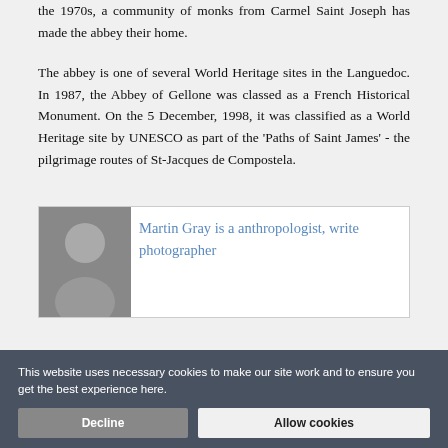the 1970s, a community of monks from Carmel Saint Joseph has made the abbey their home.
The abbey is one of several World Heritage sites in the Languedoc. In 1987, the Abbey of Gellone was classed as a French Historical Monument. On the 5 December, 1998, it was classified as a World Heritage site by UNESCO as part of the 'Paths of Saint James' - the pilgrimage routes of St-Jacques de Compostela.
[Figure (photo): Partially visible portrait photo of Martin Gray on left side of a card, with text 'Martin Gray is a anthropologist, write photographer' on the right]
This website uses necessary cookies to make our site work and to ensure you get the best experience here.